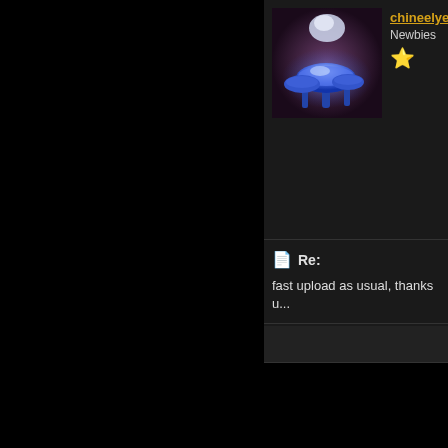[Figure (photo): Avatar image of blue glowing mushrooms on dark background]
chineelye • Newbies ★
📄 Re:
fast upload as usual, thanks u...
Similar Threads
Advanced systemcare pro v.5.1.0....